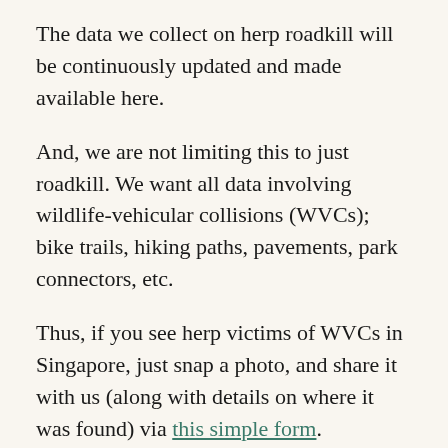The data we collect on herp roadkill will be continuously updated and made available here.
And, we are not limiting this to just roadkill. We want all data involving wildlife-vehicular collisions (WVCs); bike trails, hiking paths, pavements, park connectors, etc.
Thus, if you see herp victims of WVCs in Singapore, just snap a photo, and share it with us (along with details on where it was found) via this simple form.
However, if you do come across WVC cases where the animal is alive, you can still submit the data to us too. But, we will urge you to first contact ACRES Wildlife Rescue (9783 7782) or NParks Animal Response Centre (1800 476 1600) so that the animal in distress can be helped.